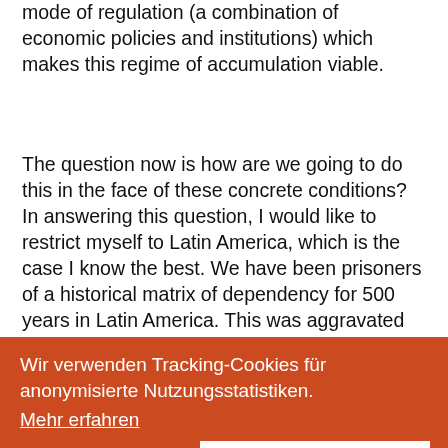mode of regulation (a combination of economic policies and institutions) which makes this regime of accumulation viable.
The question now is how are we going to do this in the face of these concrete conditions? In answering this question, I would like to restrict myself to Latin America, which is the case I know the best. We have been prisoners of a historical matrix of dependency for 500 years in Latin America. This was aggravated by neoliberalism over the past thirty years, which has not only led to a rapid deterioration of the productive fabric, mostly build up in the context of the capitalist modernization but also to an institutional dismantling which is at the heart of a transformation process of social actors who the progressive forces have to attend to.
[Figure (other): Cookie consent banner overlay in orange/red (#cc4a20). Contains text 'Wir verwenden Tracking-Cookies für anonymisierte Nutzungsstatistiken.' with a 'Mehr erfahren' underlined link, and two buttons: 'Ablehnen' (white text on orange) and 'Einverstanden' (orange text on white background).]
I would like to briefly mention those monetary, financial and macroeconomic elements that do not usually form